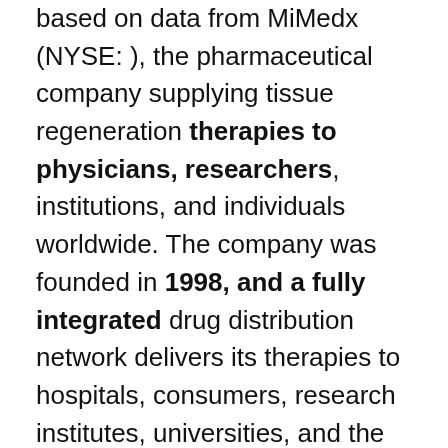based on data from MiMedx (NYSE: ), the pharmaceutical company supplying tissue regeneration therapies to physicians, researchers, institutions, and individuals worldwide. The company was founded in 1998, and a fully integrated drug distribution network delivers its therapies to hospitals, consumers, research institutes, universities, and the pharmaceutical marketplaces, including hospitals and academic institutions.

Tissue regeneration treatment using stem cells (SCs) was first used in humans in 2003, by Dr. McKeon of the